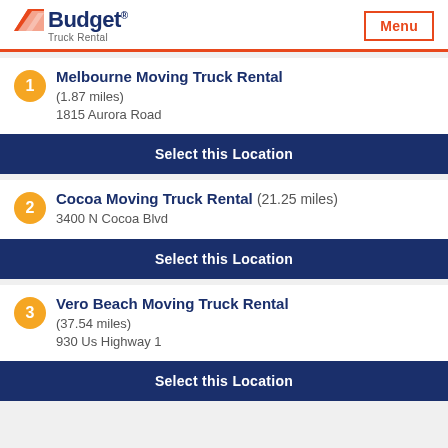Budget Truck Rental — Menu
1. Melbourne Moving Truck Rental (1.87 miles) — 1815 Aurora Road — Select this Location
2. Cocoa Moving Truck Rental (21.25 miles) — 3400 N Cocoa Blvd — Select this Location
3. Vero Beach Moving Truck Rental (37.54 miles) — 930 Us Highway 1 — Select this Location